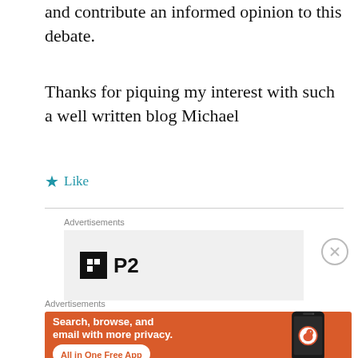and contribute an informed opinion to this debate.
Thanks for piquing my interest with such a well written blog Michael
★ Like
[Figure (other): P2 advertisement with black logo box]
[Figure (other): DuckDuckGo advertisement: Search, browse, and email with more privacy. All in One Free App.]